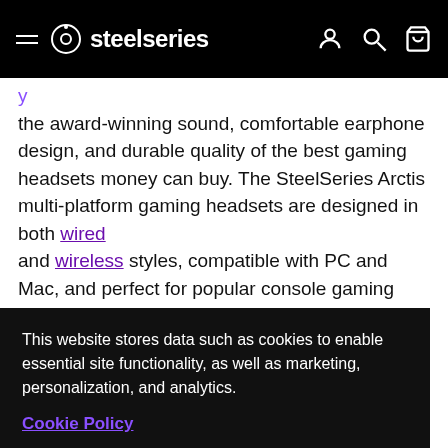steelseries
the award-winning sound, comfortable earphone design, and durable quality of the best gaming headsets money can buy. The SteelSeries Arctis multi-platform gaming headsets are designed in both wired and wireless styles, compatible with PC and Mac, and perfect for popular console gaming systems like Xbox, s, and
This website stores data such as cookies to enable essential site functionality, as well as marketing, personalization, and analytics.
Cookie Policy
Accept
Deny
ter?
important and levels dphones. n, a detachable cable for wired and wireless versatility, and